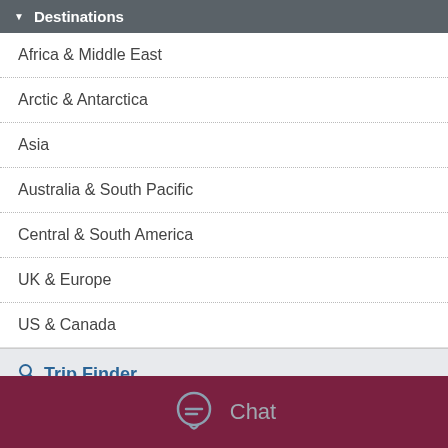Destinations
Africa & Middle East
Arctic & Antarctica
Asia
Australia & South Pacific
Central & South America
UK & Europe
US & Canada
Trip Finder
Back to top
Our Experts
© Copyright 2022. Goway Travel.
View desktop version
Chat